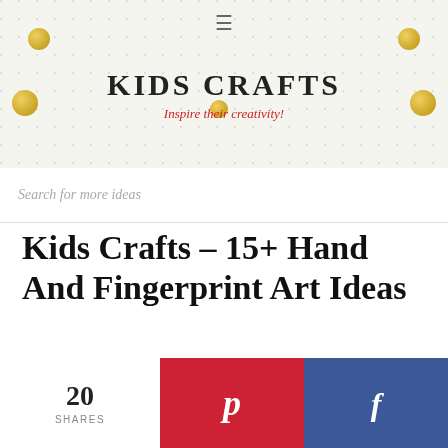KIDS CRAFTS — Inspire their creativity!
Search for more ideas
Kids Crafts – 15+ Hand And Fingerprint Art Ideas
May 16, by Shellie Wilson. — Leave a Comment
20 SHARES